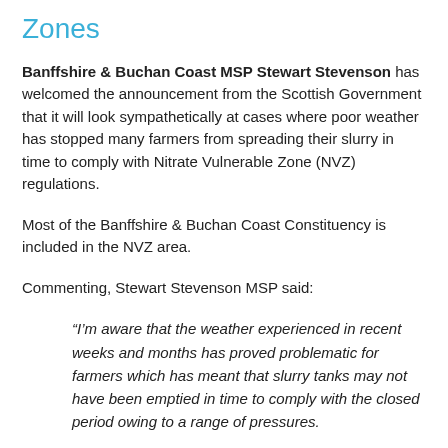Zones
Banffshire & Buchan Coast MSP Stewart Stevenson has welcomed the announcement from the Scottish Government that it will look sympathetically at cases where poor weather has stopped many farmers from spreading their slurry in time to comply with Nitrate Vulnerable Zone (NVZ) regulations.
Most of the Banffshire & Buchan Coast Constituency is included in the NVZ area.
Commenting, Stewart Stevenson MSP said:
“I’m aware that the weather experienced in recent weeks and months has proved problematic for farmers which has meant that slurry tanks may not have been emptied in time to comply with the closed period owing to a range of pressures.
“As we enter the period where no slurry spreading is permitted in Nitrate Vulnerable Zones, I am pleased that the Minister has listened to industry concerns and